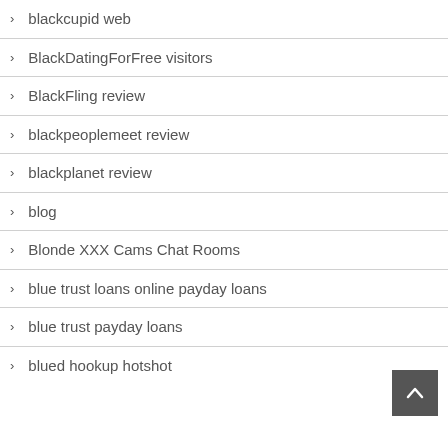blackcupid web
BlackDatingForFree visitors
BlackFling review
blackpeoplemeet review
blackplanet review
blog
Blonde XXX Cams Chat Rooms
blue trust loans online payday loans
blue trust payday loans
blued hookup hotshot